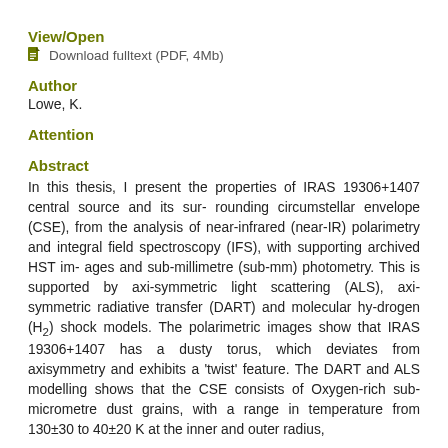View/Open
Download fulltext (PDF, 4Mb)
Author
Lowe, K.
Attention
Abstract
In this thesis, I present the properties of IRAS 19306+1407 central source and its sur- rounding circumstellar envelope (CSE), from the analysis of near-infrared (near-IR) polarimetry and integral field spectroscopy (IFS), with supporting archived HST im- ages and sub-millimetre (sub-mm) photometry. This is supported by axi-symmetric light scattering (ALS), axi-symmetric radiative transfer (DART) and molecular hy-drogen (H2) shock models. The polarimetric images show that IRAS 19306+1407 has a dusty torus, which deviates from axisymmetry and exhibits a 'twist' feature. The DART and ALS modelling shows that the CSE consists of Oxygen-rich sub-micrometre dust grains, with a range in temperature from 130±30 to 40±20 K at the inner and outer radius,